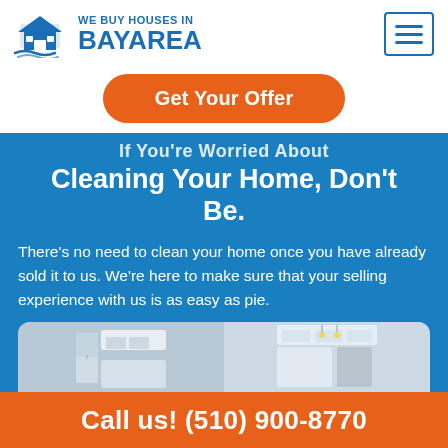[Figure (logo): We Buy Houses in Bay Area logo with house icon and blue text]
Get Your Offer
If You're Worried About Cleaning Your Home, Don't Be.
There's no need to clean your home once you have already sold it to us. We're here to make sure that your selling experience with us is as easy as pie.
[Figure (photo): Kitchen interior photo showing white cabinets and appliances]
Call us! (510) 900-8770